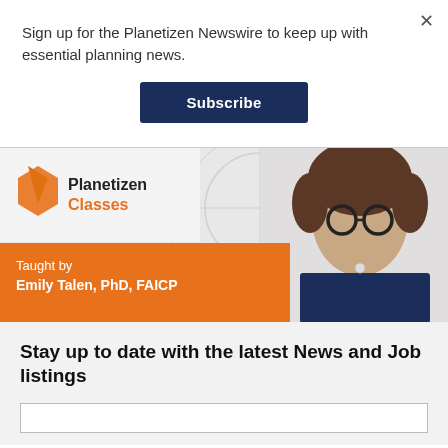Sign up for the Planetizen Newswire to keep up with essential planning news.
Subscribe
[Figure (illustration): Planetizen Classes promotional banner featuring an instructor photo of Emily Talen, PhD, FAICP with orange and dark background. Text reads 'Planetizen Classes' and 'Taught by Emily Talen, PhD, FAICP'.]
Stay up to date with the latest News and Job listings